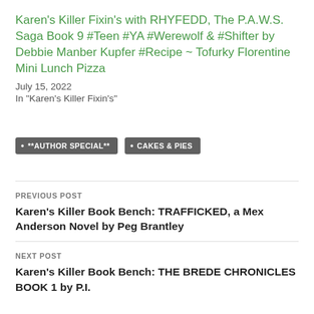Karen's Killer Fixin's with RHYFEDD, The P.A.W.S. Saga Book 9 #Teen #YA #Werewolf & #Shifter by Debbie Manber Kupfer #Recipe ~ Tofurky Florentine Mini Lunch Pizza
July 15, 2022
In "Karen's Killer Fixin's"
**AUTHOR SPECIAL**
CAKES & PIES
PREVIOUS POST
Karen's Killer Book Bench: TRAFFICKED, a Mex Anderson Novel by Peg Brantley
NEXT POST
Karen's Killer Book Bench: THE BREDE CHRONICLES BOOK 1 by P.I.